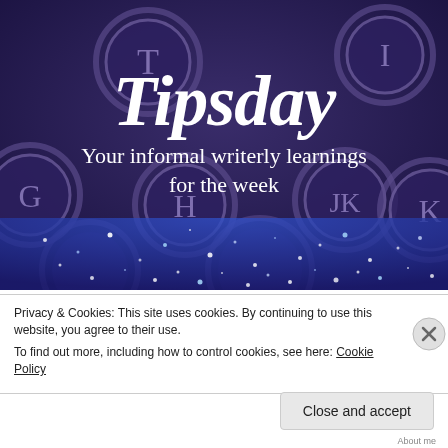[Figure (illustration): Dark purple-toned close-up photo of vintage typewriter keys including letters T, G, H, I, K visible on round keys. A large italic serif 'Tipsday' title overlays the upper portion in white, and below it reads 'Your informal writerly learnings for the week' in white text. The lower portion transitions to a sparkling blue glitter effect.]
Privacy & Cookies: This site uses cookies. By continuing to use this website, you agree to their use.
To find out more, including how to control cookies, see here: Cookie Policy